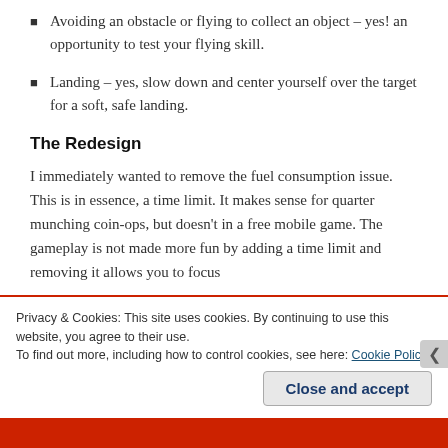Avoiding an obstacle or flying to collect an object – yes! an opportunity to test your flying skill.
Landing – yes, slow down and center yourself over the target for a soft, safe landing.
The Redesign
I immediately wanted to remove the fuel consumption issue. This is in essence, a time limit. It makes sense for quarter munching coin-ops, but doesn't in a free mobile game. The gameplay is not made more fun by adding a time limit and removing it allows you to focus
Privacy & Cookies: This site uses cookies. By continuing to use this website, you agree to their use.
To find out more, including how to control cookies, see here: Cookie Policy
Close and accept